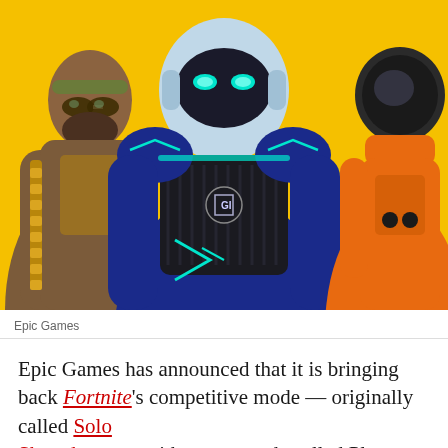[Figure (illustration): Fortnite character artwork showing three characters against a yellow background: a muscular man with sunglasses and gold accessories on the left, a blue armored robot/suit character with teal accents in the center, and an orange space-suited character on the right.]
Epic Games
Epic Games has announced that it is bringing back Fortnite's competitive mode — originally called Solo Showdown — with a new mode called Pl...